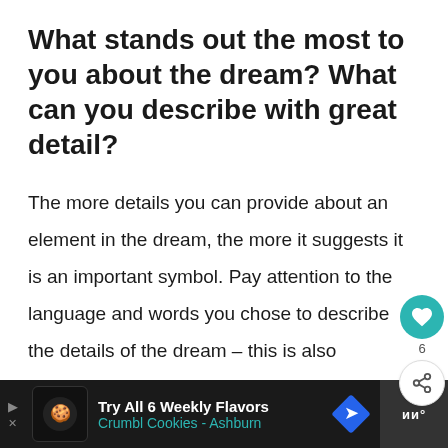What stands out the most to you about the dream? What can you describe with great detail?
The more details you can provide about an element in the dream, the more it suggests it is an important symbol. Pay attention to the language and words you chose to describe the details of the dream – this is also important.
[Figure (other): Advertisement bar for Crumbl Cookies - Ashburn showing 'Try All 6 Weekly Flavors' with logo and navigation arrow icon]